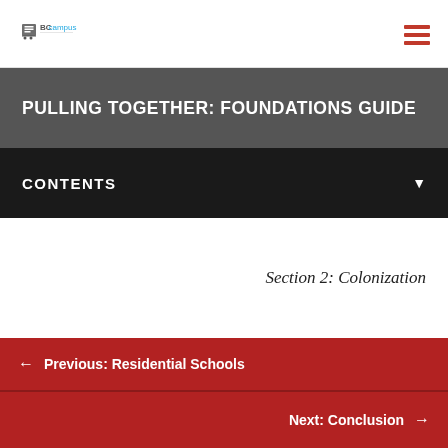BCcampus
PULLING TOGETHER: FOUNDATIONS GUIDE
CONTENTS
Section 2: Colonization
Previous: Residential Schools
Next: Conclusion